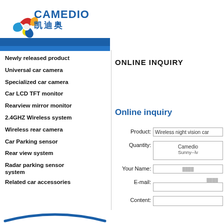[Figure (logo): CAMEDIO logo with pinwheel icon in red, orange, yellow, blue colors. Company name CAMEDIO in blue bold text with Chinese characters 凯迪奥 below. Blue wave/arc background.]
ONLINE INQUIRY
Newly released product
Universal car camera
Specialized car camera
Car LCD TFT monitor
Rearview mirror monitor
2.4GHZ Wireless system
Wireless rear camera
Car Parking sensor
Rear view system
Radar parking sensor system
Related car accessories
Online inquiry
| Label | Value |
| --- | --- |
| Product: | Wireless night vision car |
| Quantity: | Camedio / Sunny--lv |
| Your Name: |  |
| E-mail: |  |
| Content: |  |